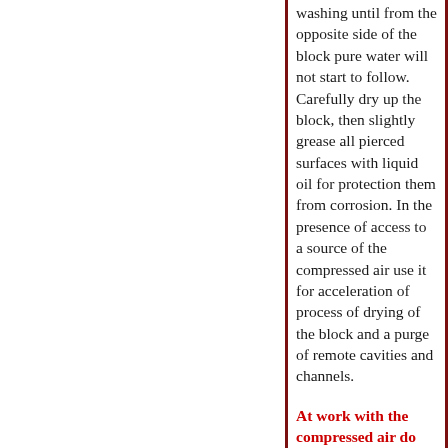washing until from the opposite side of the block pure water will not start to follow. Carefully dry up the block, then slightly grease all pierced surfaces with liquid oil for protection them from corrosion. In the presence of access to a source of the compressed air use it for acceleration of process of drying of the block and a purge of remote cavities and channels.
At work with the compressed air do not forget to put on goggles!